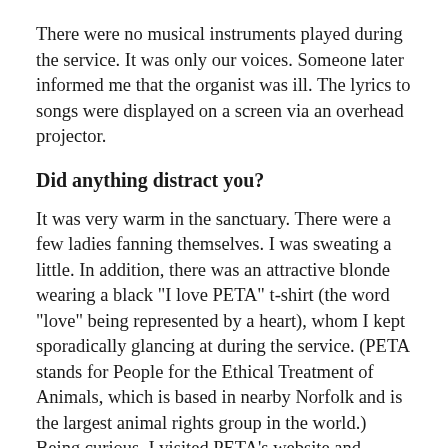There were no musical instruments played during the service. It was only our voices. Someone later informed me that the organist was ill. The lyrics to songs were displayed on a screen via an overhead projector.
Did anything distract you?
It was very warm in the sanctuary. There were a few ladies fanning themselves. I was sweating a little. In addition, there was an attractive blonde wearing a black "I love PETA" t-shirt (the word "love" being represented by a heart), whom I kept sporadically glancing at during the service. (PETA stands for People for the Ethical Treatment of Animals, which is based in nearby Norfolk and is the largest animal rights group in the world.) Being curious, I visited PETA's website and noticed that the price of her t-shirt was $20.